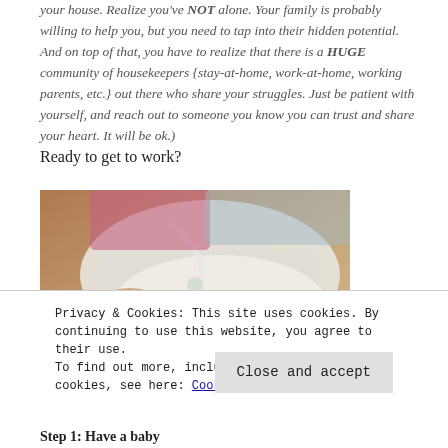your house. Realize you've NOT alone. Your family is probably willing to help you, but you need to tap into their hidden potential. And on top of that, you have to realize that there is a HUGE community of housekeepers {stay-at-home, work-at-home, working parents, etc.} out there who share your struggles. Just be patient with yourself, and reach out to someone you know you can trust and share your heart. It will be ok.)
Ready to get to work?
[Figure (photo): Photo of a newborn baby lying down, crying, wearing a diaper, with medical tubes/equipment visible near its head.]
Privacy & Cookies: This site uses cookies. By continuing to use this website, you agree to their use. To find out more, including how to control cookies, see here: Cookie Policy
Step 1: Have a baby